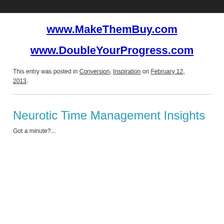www.MakeThemBuy.com
www.DoubleYourProgress.com
This entry was posted in Conversion, Inspiration on February 12, 2013.
Neurotic Time Management Insights
Got a minute?...